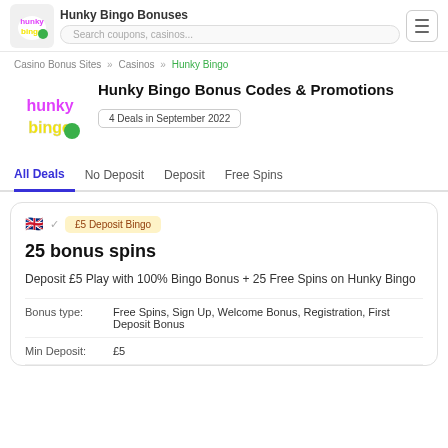Hunky Bingo Bonuses | Search coupons, casinos...
Casino Bonus Sites » Casinos » Hunky Bingo
Hunky Bingo Bonus Codes & Promotions
4 Deals in September 2022
All Deals  No Deposit  Deposit  Free Spins
£5 Deposit Bingo
25 bonus spins
Deposit £5 Play with 100% Bingo Bonus + 25 Free Spins on Hunky Bingo
| Field | Value |
| --- | --- |
| Bonus type: | Free Spins, Sign Up, Welcome Bonus, Registration, First Deposit Bonus |
| Min Deposit: | £5 |